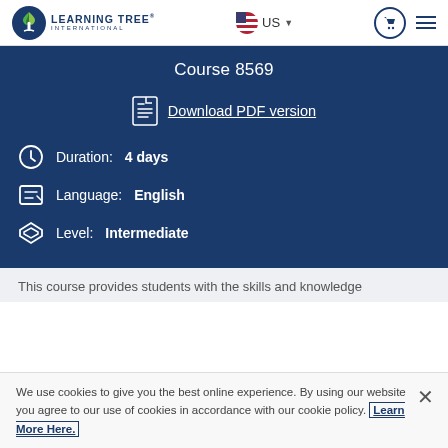Learning Tree International — US — Cart — Menu
Course 8569
Download PDF version
Duration: 4 days
Language: English
Level: Intermediate
This course provides students with the skills and knowledge
We use cookies to give you the best online experience. By using our website you agree to our use of cookies in accordance with our cookie policy. Learn More Here.